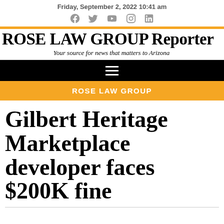Friday, September 2, 2022 10:41 am
ROSE LAW GROUP Reporter
Your source for news that matters to Arizona
ROSE LAW GROUP
Gilbert Heritage Marketplace developer faces $200K fine